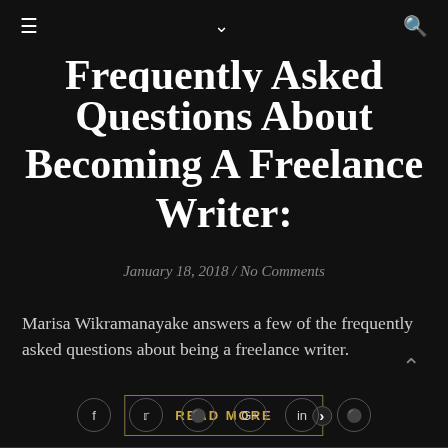≡  ∨  🔍
Frequently Asked Questions About Becoming A Freelance Writer:
January 18, 2018 / No Comments
Marisa Wikramanayake answers a few of the frequently asked questions about being a freelance writer.
READ MORE